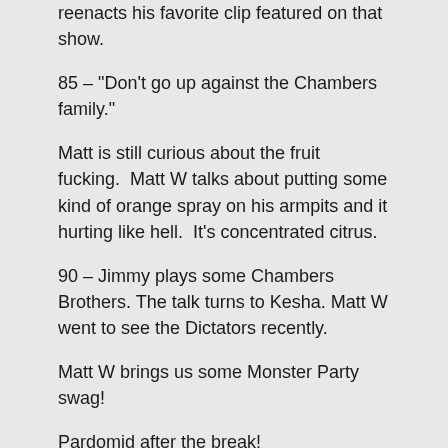reenacts his favorite clip featured on that show.
85 – "Don't go up against the Chambers family."
Matt is still curious about the fruit fucking.  Matt W talks about putting some kind of orange spray on his armpits and it hurting like hell.  It's concentrated citrus.
90 – Jimmy plays some Chambers Brothers. The talk turns to Kesha. Matt W went to see the Dictators recently.
Matt W brings us some Monster Party swag!
Pardomid after the break!
Welcome back to 15? Cetera! Jimmy sings a little Glory of Love for us. Everyone joins in.
[Figure (photo): Dark red/maroon background with decorative crown-like pattern of lights and text showing '$0,000,000']